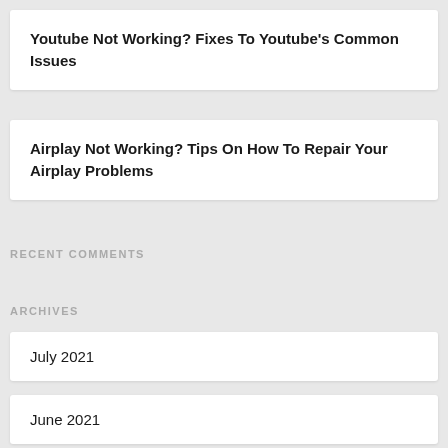Youtube Not Working? Fixes To Youtube's Common Issues
Airplay Not Working? Tips On How To Repair Your Airplay Problems
RECENT COMMENTS
ARCHIVES
July 2021
June 2021